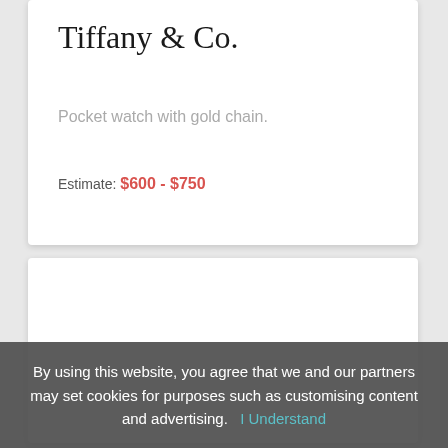Tiffany & Co.
Pocket watch with gold chain.
Estimate: $600 - $750
By using this website, you agree that we and our partners may set cookies for purposes such as customising content and advertising.  I Understand